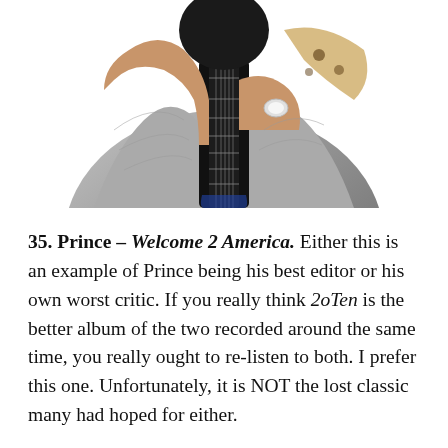[Figure (photo): A person in a silver/metallic jacket holding a guitar neck up in front of their face, wearing a large ring, with leopard print visible on the jacket collar area.]
35. Prince – Welcome 2 America. Either this is an example of Prince being his best editor or his own worst critic. If you really think 20Ten is the better album of the two recorded around the same time, you really ought to re-listen to both. I prefer this one. Unfortunately, it is NOT the lost classic many had hoped for either.
34. Weezer – Van Weezer. Originally scheduled